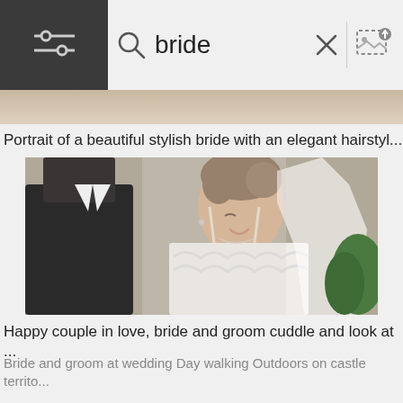[Figure (screenshot): Search bar UI with filter icon on dark background left, magnifying glass icon, text input showing 'bride', X close button, and image upload icon on right]
Portrait of a beautiful stylish bride with an elegant hairstyl...
[Figure (photo): Happy couple — bride in white lace dress with veil and groom in dark suit, facing each other closely, smiling. Wedding portrait photo.]
Happy couple in love, bride and groom cuddle and look at ...
Bride and groom at wedding Day walking Outdoors on castle territo...